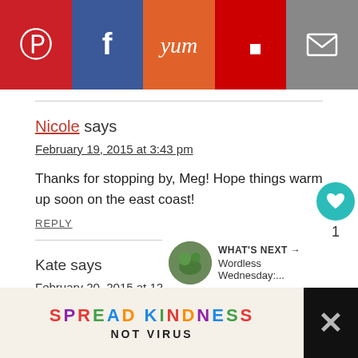[Figure (infographic): Social sharing buttons bar: Pinterest (red), Facebook (blue), Yum (orange), Flipboard (dark red), Email (grey)]
Nicole says
February 19, 2015 at 3:43 pm
Thanks for stopping by, Meg! Hope things warm up soon on the east coast!
REPLY
Kate says
February 20, 2015 at 12:56 pm
[Figure (infographic): WHAT'S NEXT arrow label with thumbnail image and text 'Wordless Wednesday:...']
[Figure (infographic): Advertisement banner: SPREAD KINDNESS NOT VIRUS on light beige background with dark sides]